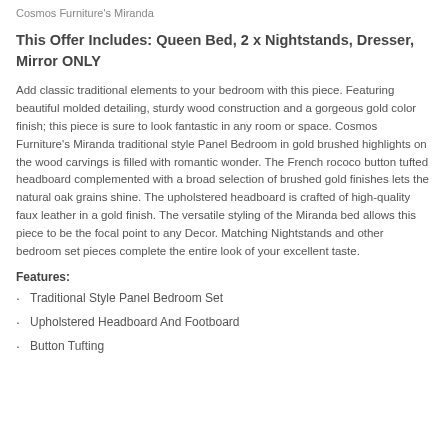Cosmos Furniture's Miranda
This Offer Includes: Queen Bed, 2 x Nightstands, Dresser, Mirror ONLY
Add classic traditional elements to your bedroom with this piece. Featuring beautiful molded detailing, sturdy wood construction and a gorgeous gold color finish; this piece is sure to look fantastic in any room or space. Cosmos Furniture's Miranda traditional style Panel Bedroom in gold brushed highlights on the wood carvings is filled with romantic wonder. The French rococo button tufted headboard complemented with a broad selection of brushed gold finishes lets the natural oak grains shine. The upholstered headboard is crafted of high-quality faux leather in a gold finish. The versatile styling of the Miranda bed allows this piece to be the focal point to any Decor. Matching Nightstands and other bedroom set pieces complete the entire look of your excellent taste.
Features:
Traditional Style Panel Bedroom Set
Upholstered Headboard And Footboard
Button Tufting